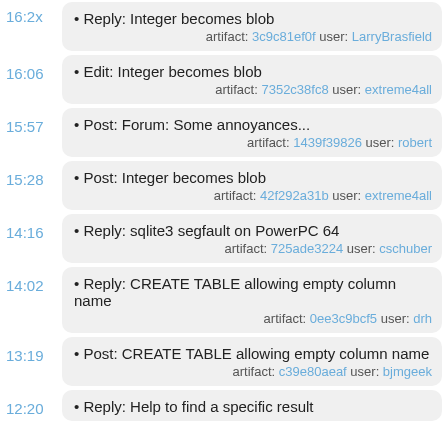Reply: Integer becomes blob
artifact: 3c9c81ef0f user: LarryBrasfield
Edit: Integer becomes blob
artifact: 7352c38fc8 user: extreme4all
Post: Forum: Some annoyances...
artifact: 1439f39826 user: robert
Post: Integer becomes blob
artifact: 42f292a31b user: extreme4all
Reply: sqlite3 segfault on PowerPC 64
artifact: 725ade3224 user: cschuber
Reply: CREATE TABLE allowing empty column name
artifact: 0ee3c9bcf5 user: drh
Post: CREATE TABLE allowing empty column name
artifact: c39e80aeaf user: bjmgeek
Reply: Help to find a specific result